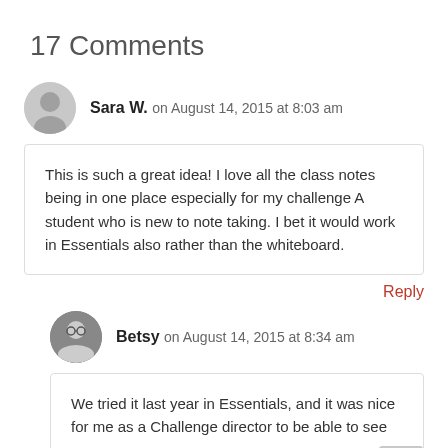17 Comments
Sara W. on August 14, 2015 at 8:03 am
This is such a great idea! I love all the class notes being in one place especially for my challenge A student who is new to note taking. I bet it would work in Essentials also rather than the whiteboard.
Reply
Betsy on August 14, 2015 at 8:34 am
We tried it last year in Essentials, and it was nice for me as a Challenge director to be able to see